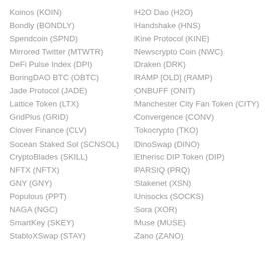Koinos (KOIN)
Bondly (BONDLY)
Spendcoin (SPND)
Mirrored Twitter (MTWTR)
DeFi Pulse Index (DPI)
BoringDAO BTC (OBTC)
Jade Protocol (JADE)
Lattice Token (LTX)
GridPlus (GRID)
Clover Finance (CLV)
Socean Staked Sol (SCNSOL)
CryptoBlades (SKILL)
NFTX (NFTX)
GNY (GNY)
Populous (PPT)
NAGA (NGC)
SmartKey (SKEY)
StabloXSwap (STAY)
H2O Dao (H2O)
Handshake (HNS)
Kine Protocol (KINE)
Newscrypto Coin (NWC)
Draken (DRK)
RAMP [OLD] (RAMP)
ONBUFF (ONIT)
Manchester City Fan Token (CITY)
Convergence (CONV)
Tokocrypto (TKO)
DinoSwap (DINO)
Etherisc DIP Token (DIP)
PARSIQ (PRQ)
Stakenet (XSN)
Unisocks (SOCKS)
Sora (XOR)
Muse (MUSE)
Zano (ZANO)